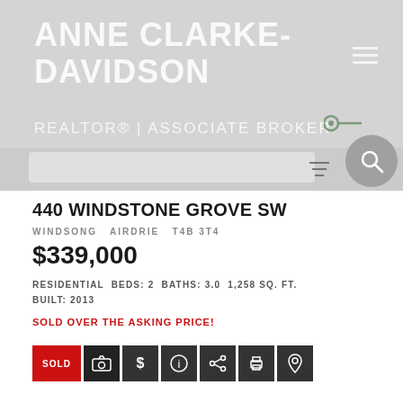ANNE CLARKE-DAVIDSON REALTOR® | ASSOCIATE BROKER
440 WINDSTONE GROVE SW
WINDSONG   AIRDRIE   T4B 3T4
$339,000
RESIDENTIAL  BEDS: 2  BATHS: 3.0  1,258 SQ. FT.  BUILT: 2013
SOLD OVER THE ASKING PRICE!
[Figure (infographic): Row of action icon buttons: SOLD (red), camera, dollar, info, share, print, location pin — all on dark backgrounds]